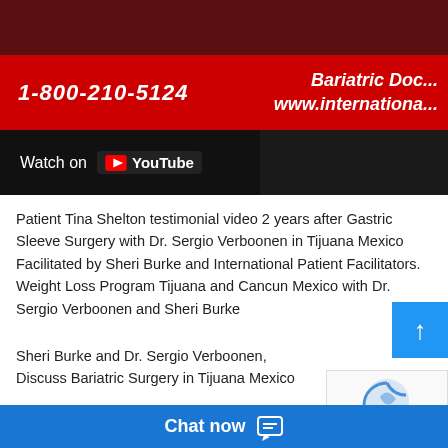[Figure (screenshot): Video thumbnail with red banner showing phone number 1-800-210-5124 and Bariatric Doc / www.internationa... text, with YouTube watch bar overlay]
Patient Tina Shelton testimonial video 2 years after Gastric Sleeve Surgery with Dr. Sergio Verboonen in Tijuana Mexico Facilitated by Sheri Burke and International Patient Facilitators. Weight Loss Program Tijuana and Cancun Mexico with Dr. Sergio Verboonen and Sheri Burke
Sheri Burke and Dr. Sergio Verboonen, Discuss Bariatric Surgery in Tijuana Mexico
[Figure (screenshot): Second video thumbnail showing Sheri Burke and Dr. Sergio Verboonen logo with chat bar at bottom]